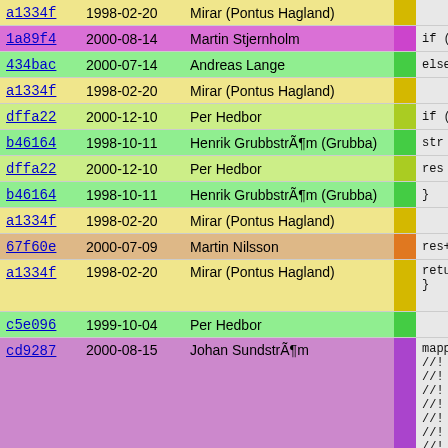| Hash | Date | Author |  | Code |
| --- | --- | --- | --- | --- |
| a1334f | 1998-02-20 | Mirar (Pontus Hagland) |  |  |
| 1a89f4 | 2000-08-14 | Martin Stjernholm |  | if (m-> |
| 434bac | 2000-07-14 | Andreas Lange |  | else if |
| a1334f | 1998-02-20 | Mirar (Pontus Hagland) |  |  |
| dffa22 | 2000-12-10 | Per Hedbor |  | if (str |
| b46164 | 1998-10-11 | Henrik Grubbström (Grubba) |  | str |
| dffa22 | 2000-12-10 | Per Hedbor |  | res |
| b46164 | 1998-10-11 | Henrik Grubbström (Grubba) |  | } |
| a1334f | 1998-02-20 | Mirar (Pontus Hagland) |  |  |
| 67f60e | 2000-07-09 | Martin Nilsson |  | res+="< |
| a1334f | 1998-02-20 | Mirar (Pontus Hagland) |  | return
} |
| c5e096 | 1999-10-04 | Per Hedbor |  |  |
| cd9287 | 2000-08-15 | Johan Sundström |  | mapping|in
//! The fu
//! module
//! and th
//! `no_ma
//! <ref>f
//!
//! Th |